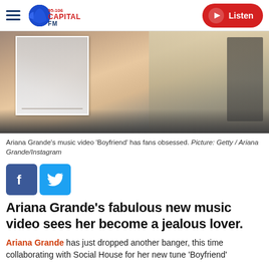95-106 Capital FM | Listen
[Figure (photo): Photo of Ariana Grande with an inset smaller photo, used as article hero image]
Ariana Grande's music video 'Boyfriend' has fans obsessed. Picture: Getty / Ariana Grande/Instagram
[Figure (infographic): Facebook and Twitter social share buttons]
Ariana Grande's fabulous new music video sees her become a jealous lover.
Ariana Grande has just dropped another banger, this time collaborating with Social House for her new tune 'Boyfriend'